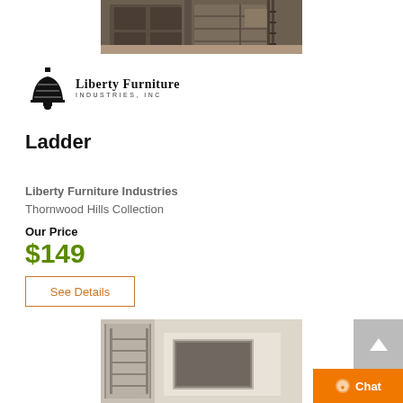[Figure (photo): Top portion of a furniture product photo showing a dark wood bookcase/cabinet with ladder on the right side, on a rug with hardwood floor]
[Figure (logo): Liberty Furniture Industries, Inc. logo with Liberty Bell icon and company name text]
Ladder
Liberty Furniture Industries
Thornwood Hills Collection
Our Price
$149
See Details
[Figure (photo): Bottom portion of a furniture product photo showing a bookcase with framed art and ladder in a room setting]